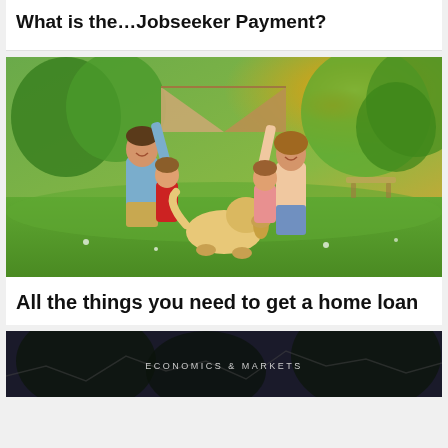What is the…Jobseeker Payment?
[Figure (photo): Family of two adults and two children with a golden retriever dog outdoors in a park, holding a cardboard house shape above their heads, sunny day with trees in background.]
All the things you need to get a home loan
[Figure (photo): Dark themed image with text 'ECONOMICS & MARKETS' overlay, appears to be a financial/market related article thumbnail.]